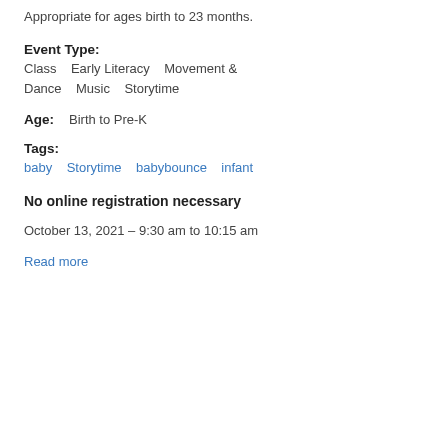Appropriate for ages birth to 23 months.
Event Type:
Class    Early Literacy    Movement &
Dance    Music    Storytime
Age:    Birth to Pre-K
Tags:
baby    Storytime    babybounce    infant
No online registration necessary
October 13, 2021 – 9:30 am to 10:15 am
Read more